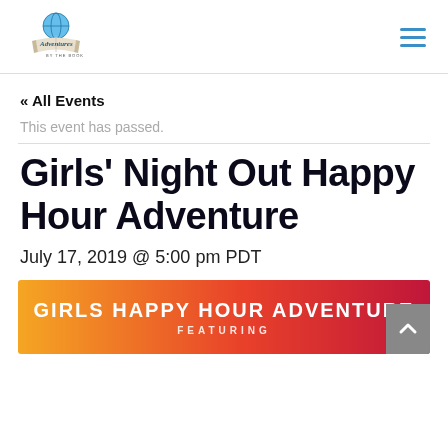[Figure (logo): Adventures by the Book logo with globe and open book graphic]
« All Events
This event has passed.
Girls' Night Out Happy Hour Adventure
July 17, 2019 @ 5:00 pm PDT
[Figure (illustration): Girls Happy Hour Adventure banner with orange to red gradient background, text reading GIRLS HAPPY HOUR ADVENTURE and FEATURING below]